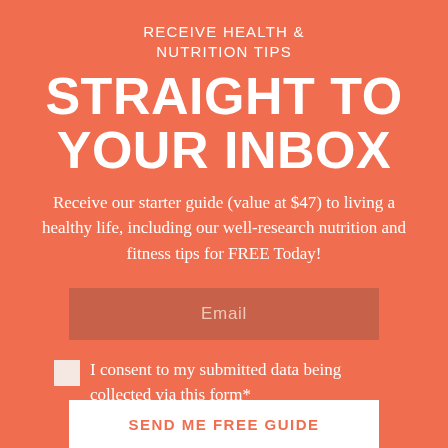RECEIVE HEALTH & NUTRITION TIPS
STRAIGHT TO YOUR INBOX
Receive our starter guide (value at $47) to living a healthy life, including our well-research nutrition and fitness tips for FREE Today!
Email
I consent to my submitted data being collected via this form*
SEND ME FREE GUIDE